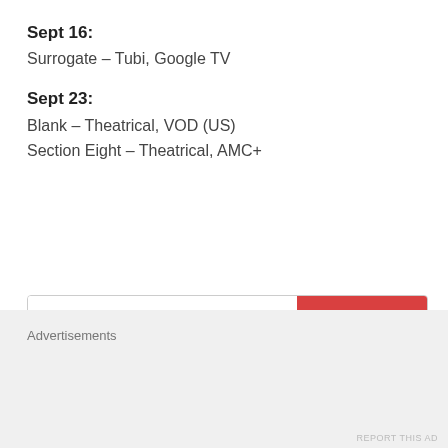Sept 16:
Surrogate – Tubi, Google TV
Sept 23:
Blank – Theatrical, VOD (US)
Section Eight – Theatrical, AMC+
[Figure (screenshot): Search bar with placeholder text 'Search...' and a red SEARCH button]
Advertisements